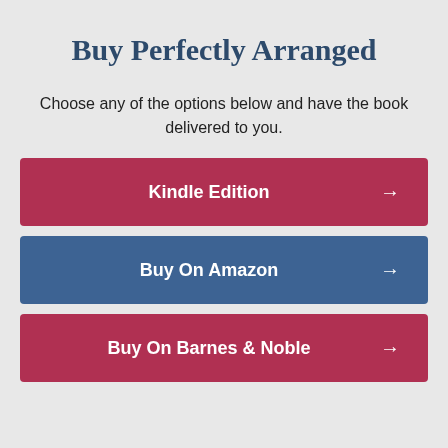Buy Perfectly Arranged
Choose any of the options below and have the book delivered to you.
Kindle Edition →
Buy On Amazon →
Buy On Barnes & Noble →